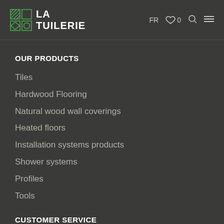LA TUILERIE — FR ♡ 0 🔍 ≡
OUR PRODUCTS
Tiles
Hardwood Flooring
Natural wood wall coverings
Heated floors
Installation systems products
Shower systems
Profiles
Tools
CUSTOMER SERVICE
Quote request